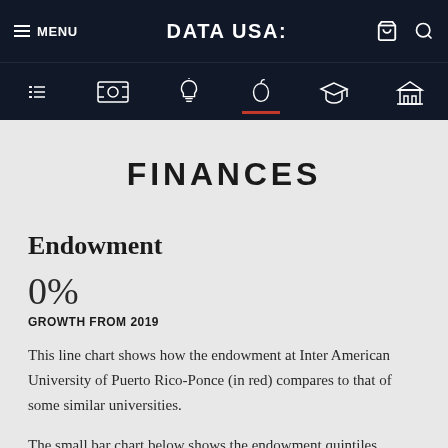MENU | DATA USA: | [cart] [search]
FINANCES
Endowment
0%
GROWTH FROM 2019
This line chart shows how the endowment at Inter American University of Puerto Rico-Ponce (in red) compares to that of some similar universities.
The small bar chart below shows the endowment quintiles